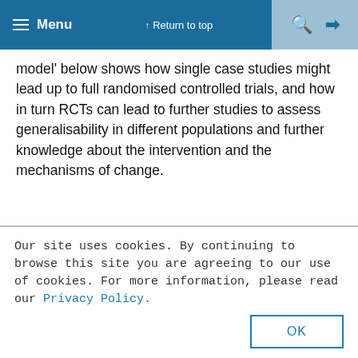Menu | Return to top
model' below shows how single case studies might lead up to full randomised controlled trials, and how in turn RCTs can lead to further studies to assess generalisability in different populations and further knowledge about the intervention and the mechanisms of change.
Developing Psychological Interventions: Hourglass Model
[Figure (other): Partial hourglass diagram showing 'Identifying treatment failures; single case reports' and 'Single case experimental designs' labels with converging diagonal lines and an upward arrow.]
Our site uses cookies. By continuing to browse this site you are agreeing to our use of cookies. For more information, please read our Privacy Policy.